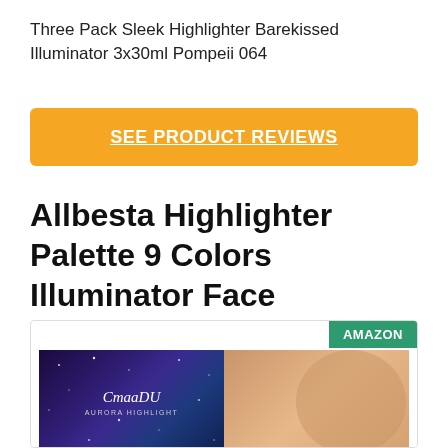Three Pack Sleek Highlighter Barekissed Illuminator 3x30ml Pompeii 064
SEE PRODUCT REVIEWS
Allbesta Highlighter Palette 9 Colors Illuminator Face
[Figure (photo): Product image showing a purple galaxy-themed cosmetics box with 'CmaaDU Aurora Highlight' branding alongside a photo of a woman with glowing highlighted skin.]